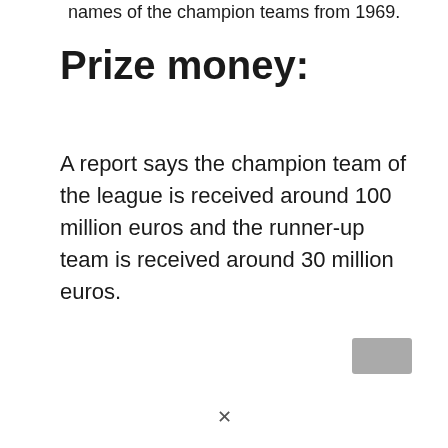names of the champion teams from 1969.
Prize money:
A report says the champion team of the league is received around 100 million euros and the runner-up team is received around 30 million euros.